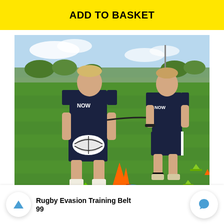ADD TO BASKET
[Figure (photo): Two people in navy 'NOW' branded shirts training on a grass rugby field. The person in the foreground holds a rugby ball and is connected by a resistance band to the person behind. Orange and green training cones are visible on the grass.]
Rugby Evasion Training Belt
99